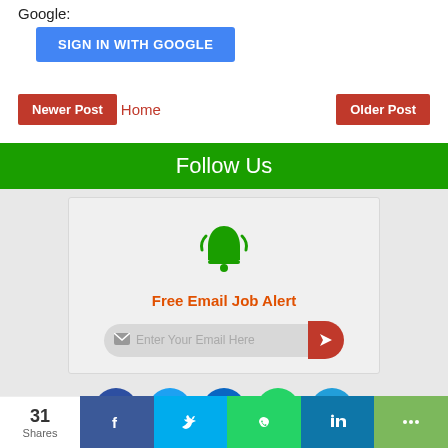Google:
[Figure (screenshot): Blue 'SIGN IN WITH GOOGLE' button]
[Figure (screenshot): Navigation bar with 'Newer Post', 'Home', and 'Older Post' links]
Follow Us
[Figure (screenshot): Email subscription widget with bell icon, 'Free Email Job Alert' text, and email input field with submit button]
[Figure (screenshot): Social media icon circles: Facebook, Twitter, LinkedIn, WhatsApp, Telegram]
[Figure (screenshot): Share bar at bottom with 31 Shares count and Facebook, Twitter, WhatsApp, LinkedIn, More share buttons]